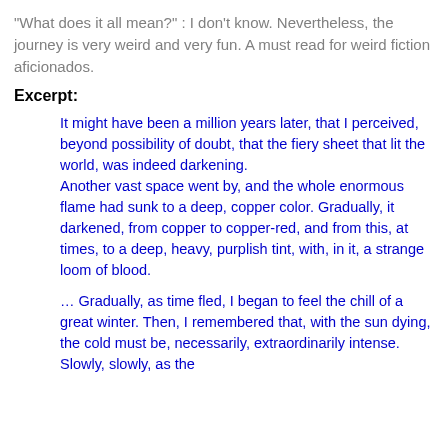"What does it all mean?" : I don't know. Nevertheless, the journey is very weird and very fun. A must read for weird fiction aficionados.
Excerpt:
It might have been a million years later, that I perceived, beyond possibility of doubt, that the fiery sheet that lit the world, was indeed darkening.
Another vast space went by, and the whole enormous flame had sunk to a deep, copper color. Gradually, it darkened, from copper to copper-red, and from this, at times, to a deep, heavy, purplish tint, with, in it, a strange loom of blood.
… Gradually, as time fled, I began to feel the chill of a great winter. Then, I remembered that, with the sun dying, the cold must be, necessarily, extraordinarily intense. Slowly, slowly, as the